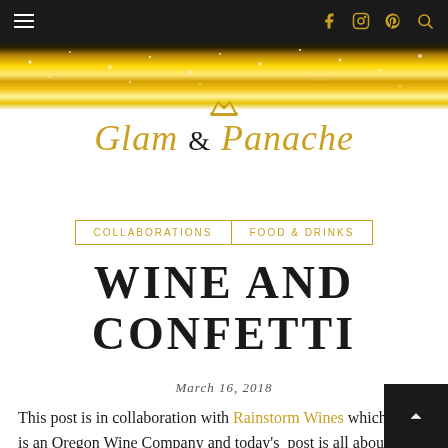Glam & Panache — navigation bar with hamburger menu and social icons
[Figure (illustration): Gold glitter sparkle banner background]
Glam & Panache
COLLABORATIONS   FOOD & DRINKS
WINE AND CONFETTI
March 16, 2018
This post is in collaboration with Rainstorm Wines which is an Oregon Wine Company and today's post is all about how I and hubby spent our last weekend